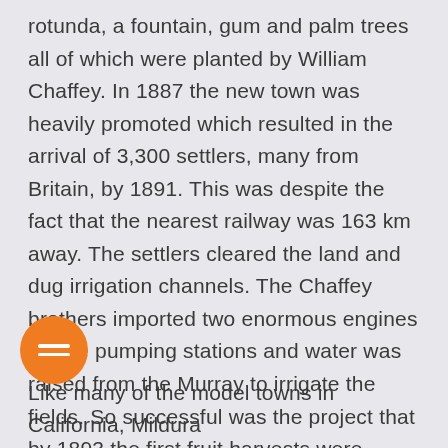rotunda, a fountain, gum and palm trees all of which were planted by William Chaffey. In 1887 the new town was heavily promoted which resulted in the arrival of 3,300 settlers, many from Britain, by 1891. This was despite the fact that the nearest railway was 163 km away. The settlers cleared the land and dug irrigation channels. The Chaffey brothers imported two enormous engines for the pumping stations and water was raised from the Murray to irrigate the fields. So successful was the project that by 1893 the first fruit harvests were being transported to the markets in Melbourne. Problems with transportation resulted in the rapid development of a dried fruit industry and being on the Murray River meant the town quickly became an important river port.
[Figure (other): Orange circular menu button with three horizontal white lines (hamburger icon)]
Like many of the model towns in California, Mildura